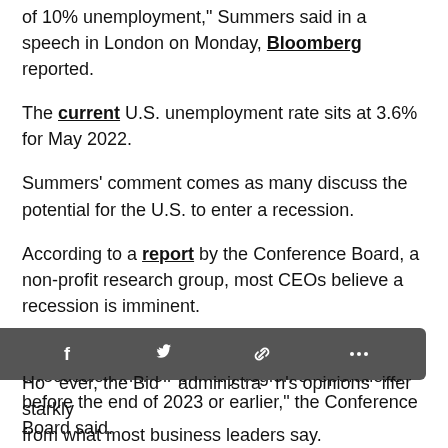of 10% unemployment," Summers said in a speech in London on Monday, Bloomberg reported.
The current U.S. unemployment rate sits at 3.6% for May 2022.
Summers' comment comes as many discuss the potential for the U.S. to enter a recession.
According to a report by the Conference Board, a non-profit research group, most CEOs believe a recession is imminent.
“More than 60% of CEOs globally say they expect a recession in their primary region of operations before the end of 2023 or earlier,” the Conference Board said.
Another 15% say their regions are already in the midst of a recession.
However, the Biden administration’s opinions differ starkly from what most business leaders say.